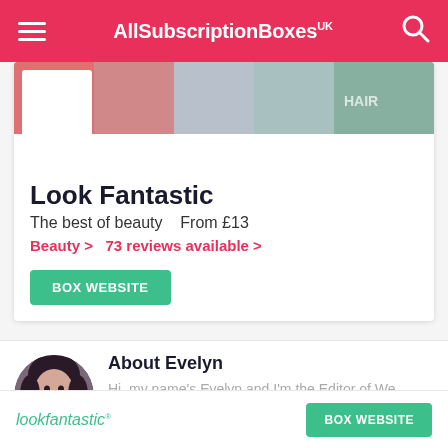AllSubscriptionBoxes UK
[Figure (screenshot): Look Fantastic subscription box product image strip]
Look Fantastic
The best of beauty   From £13
Beauty >   73 reviews available >
BOX WEBSITE
About Evelyn
Hi, my name's Evelyn and I'm the Editor of We Were Raised By Wolves - a UK
lookfantastic®
BOX WEBSITE